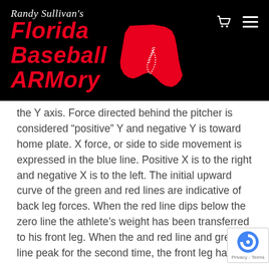Randy Sullivan's Florida Baseball ARMory
the Y axis. Force directed behind the pitcher is considered “positive” Y and negative Y is toward home plate. X force, or side to side movement is expressed in the blue line. Positive X is to the right and negative X is to the left. The initial upward curve of the green and red lines are indicative of back leg forces. When the red line dips below the zero line the athlete’s weight has been transferred to his front leg. When the and red line and green line peak for the second time, the front leg has